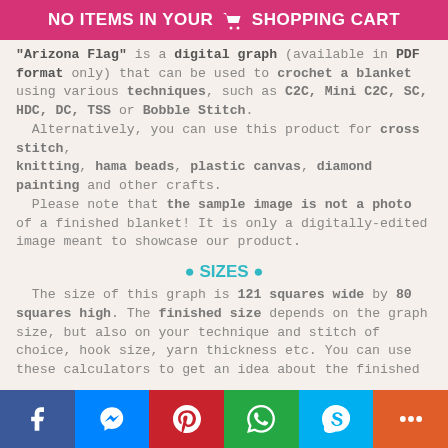NO ITEMS IN YOUR SHOPPING CART
"Arizona Flag" is a digital graph (available in PDF format only) that can be used to crochet a blanket using various techniques, such as C2C, Mini C2C, SC, HDC, DC, TSS or Bobble Stitch. Alternatively, you can use this product for cross stitch, knitting, hama beads, plastic canvas, diamond painting and other crafts. Please note that the sample image is not a photo of a finished blanket! It is only a digitally-edited image meant to showcase our product.
• SIZES •
The size of this graph is 121 squares wide by 80 squares high. The finished size depends on the graph size, but also on your technique and stitch of choice, hook size, yarn thickness etc. You can use these calculators to get an idea about the finished
Facebook | Messenger | Pinterest | WhatsApp | Skype | More